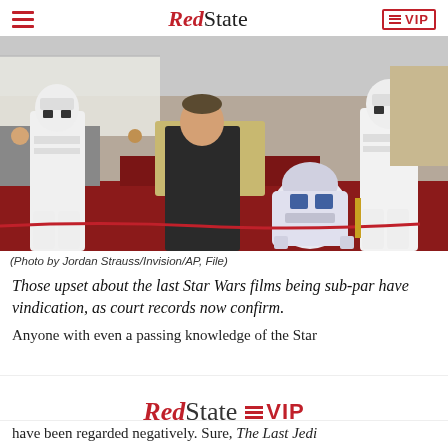RedState | VIP
[Figure (photo): Mark Hamill at his Hollywood Walk of Fame ceremony, flanked by two Stormtroopers, posing with R2-D2 on a red carpet]
(Photo by Jordan Strauss/Invision/AP, File)
Those upset about the last Star Wars films being sub-par have vindication, as court records now confirm.
Anyone with even a passing knowledge of the Star
have been regarded negatively. Sure, The Last Jedi